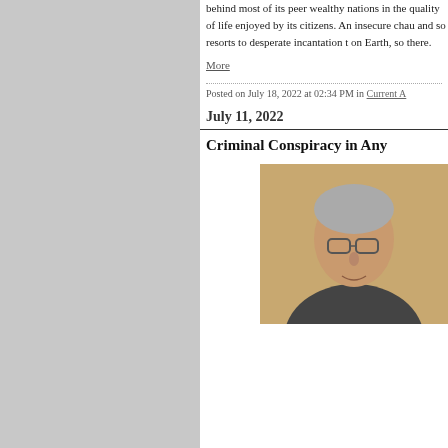behind most of its peer wealthy nations in the quality of life enjoyed by its citizens. An insecure chauvinism knows this and so resorts to desperate incantation that We're #1 on Earth, so there.
More
Posted on July 18, 2022 at 02:34 PM in Current A...
July 11, 2022
Criminal Conspiracy in Any...
[Figure (photo): Photo of a person wearing glasses against a tan/beige background]